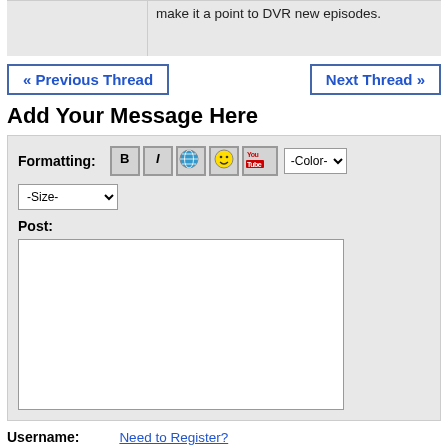make it a point to DVR new episodes.
« Previous Thread
Next Thread »
Add Your Message Here
Formatting: [B] [I] [globe] [smiley] [YouTube] -Color- -Size-
Post:
Username:
Need to Register?